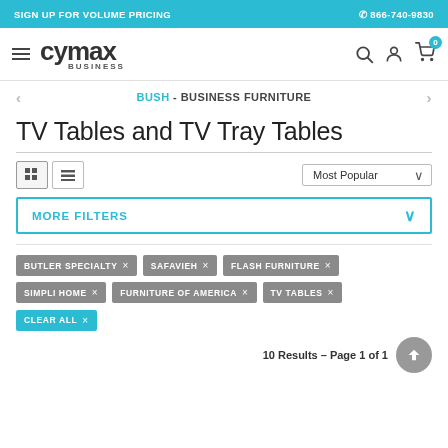SIGN UP FOR VOLUME PRICING | ☎ 866-740-9830
[Figure (logo): Cymax Business logo with hamburger menu and nav icons (search, account, cart with 0 badge)]
BUSH - BUSINESS FURNITURE
TV Tables and TV Tray Tables
View controls (grid/list) and sort: Most Popular
MORE FILTERS
BUTLER SPECIALTY ×
SAFAVIEH ×
FLASH FURNITURE ×
SIMPLI HOME ×
FURNITURE OF AMERICA ×
TV TABLES ×
CLEAR ALL ×
10 Results – Page 1 of 1